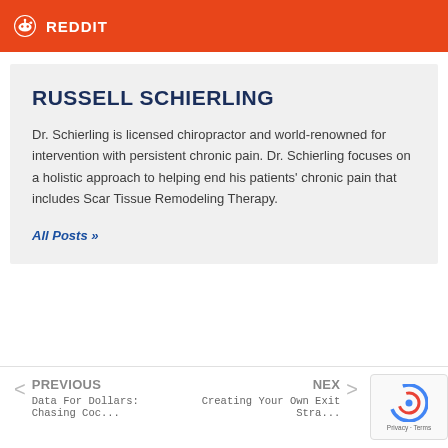REDDIT
RUSSELL SCHIERLING
Dr. Schierling is licensed chiropractor and world-renowned for intervention with persistent chronic pain. Dr. Schierling focuses on a holistic approach to helping end his patients' chronic pain that includes Scar Tissue Remodeling Therapy.
All Posts »
< PREVIOUS
Data For Dollars: Chasing Coc...
NEX >
Creating Your Own Exit Stra...